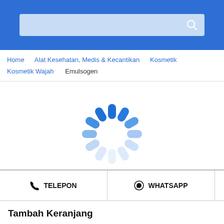[Figure (screenshot): Blue header bar with search input field and search icon]
Home  Alat Kesehatan, Medis & Kecantikan  Kosmetik  Kosmetik Wajah  Emulsogen
[Figure (other): Circular loading spinner animation with blue and light blue dashes]
TELEPON
WHATSAPP
Tambah Keranjang